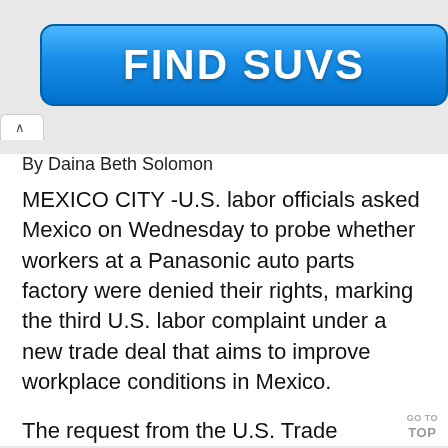[Figure (other): Blue button advertisement banner reading FIND SUVS in white bold text]
By Daina Beth Solomon
MEXICO CITY -U.S. labor officials asked Mexico on Wednesday to probe whether workers at a Panasonic auto parts factory were denied their rights, marking the third U.S. labor complaint under a new trade deal that aims to improve workplace conditions in Mexico.
The request from the U.S. Trade